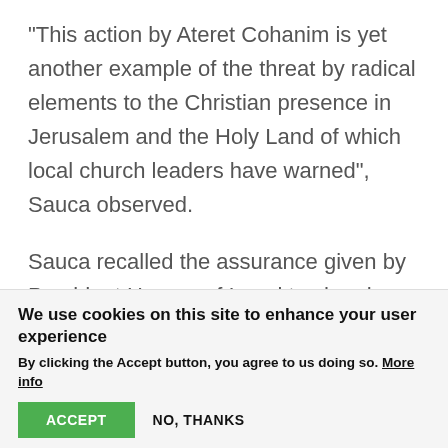“This action by Ateret Cohanim is yet another example of the threat by radical elements to the Christian presence in Jerusalem and the Holy Land of which local church leaders have warned”, Sauca observed.

Sauca recalled the assurance given by President Herzog of Israel to church leaders at Christmas 2021 that “we will stand strong against any forms of racism, discrimination, or extremism, and we will reject any assault or threat on religious communities, leaders, or houses of
We use cookies on this site to enhance your user experience
By clicking the Accept button, you agree to us doing so. More info